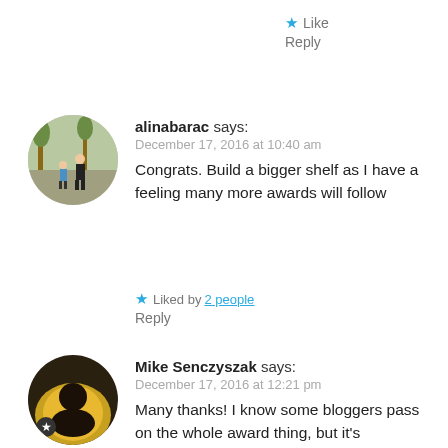★ Like
Reply
[Figure (photo): Circular avatar photo of alinabarac showing two people outdoors in a park]
alinabarac says:
December 17, 2016 at 10:40 am
Congrats. Build a bigger shelf as I have a feeling many more awards will follow
★ Liked by 2 people
Reply
[Figure (photo): Circular avatar photo of Mike Senczyszak with a star badge, showing a person with yellowish lighting]
Mike Senczyszak says:
December 17, 2016 at 12:21 pm
Many thanks! I know some bloggers pass on the whole award thing, but it's